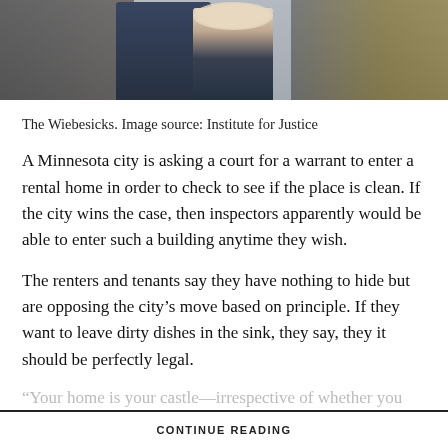[Figure (photo): Two people standing together, likely the Wiebesicks, photographed indoors. Image source credited to Institute for Justice.]
The Wiebesicks. Image source: Institute for Justice
A Minnesota city is asking a court for a warrant to enter a rental home in order to check to see if the place is clean. If the city wins the case, then inspectors apparently would be able to enter such a building anytime they wish.
The renters and tenants say they have nothing to hide but are opposing the city's move based on principle. If they want to leave dirty dishes in the sink, they say, they it should be perfectly legal.
“Your home is your castle—irrespective of whether you rent it...